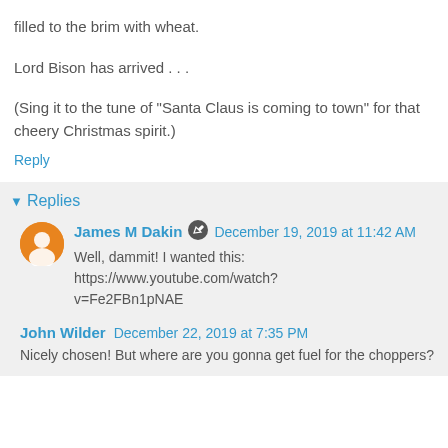filled to the brim with wheat.
Lord Bison has arrived . . .
(Sing it to the tune of "Santa Claus is coming to town" for that cheery Christmas spirit.)
Reply
Replies
James M Dakin   December 19, 2019 at 11:42 AM
Well, dammit! I wanted this: https://www.youtube.com/watch?v=Fe2FBn1pNAE
John Wilder   December 22, 2019 at 7:35 PM
Nicely chosen! But where are you gonna get fuel for the choppers?